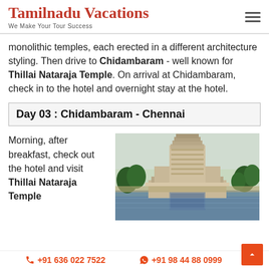Tamilnadu Vacations — We Make Your Tour Success
monolithic temples, each erected in a different architecture styling. Then drive to Chidambaram - well known for Thillai Nataraja Temple. On arrival at Chidambaram, check in to the hotel and overnight stay at the hotel.
Day 03 : Chidambaram - Chennai
Morning, after breakfast, check out the hotel and visit Thillai Nataraja Temple
[Figure (photo): Thillai Nataraja Temple tower (gopuram) reflected in a temple tank, surrounded by trees]
☎ +91 636 022 7522   ✉ +91 98 44 88 0999